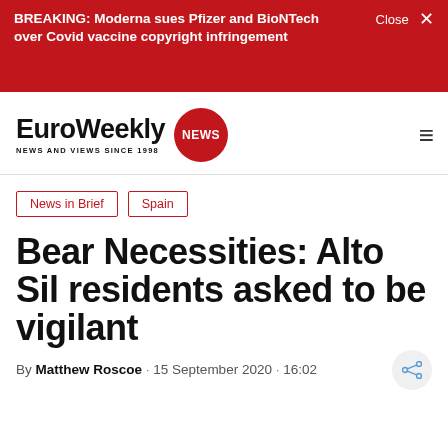BREAKING: Moderna sues Pfizer and BioNTech over Covid vaccine copyright infringement
[Figure (logo): EuroWeekly NEWS logo — bold black 'EuroWeekly' text with red circular NEWS badge, tagline 'NEWS AND VIEWS SINCE 1998']
News in Brief
Spain
Bear Necessities: Alto Sil residents asked to be vigilant
By Matthew Roscoe · 15 September 2020 · 16:02